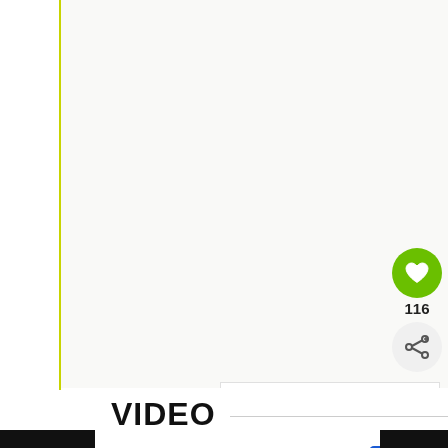[Figure (screenshot): White content area with yellow-green border lines on left and right sides, representing a webpage layout]
[Figure (illustration): Green circular heart/like button with count of 116 below it, and a share button below that]
116
[Figure (screenshot): WHAT'S NEXT panel showing a thumbnail image and text 'No-Churn Blueberry Ic...']
VIDEO
[Figure (screenshot): Advertisement bar showing in-store shopping, curbside pickup and delivery options with a navigation icon and close button]